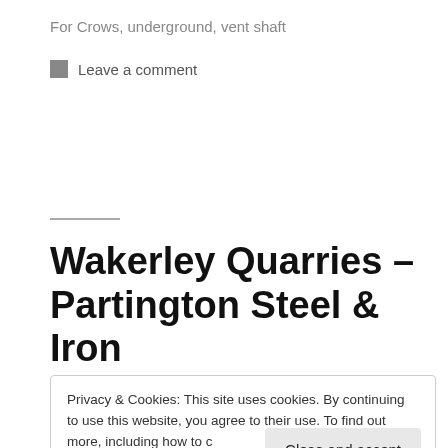For Crows, underground, vent shaft
Leave a comment
Wakerley Quarries – Partington Steel & Iron
Privacy & Cookies: This site uses cookies. By continuing to use this website, you agree to their use. To find out more, including how to control cookies, see here: Cookie Policy
[Figure (photo): Partial view of a stone ruin or quarry building, visible at the bottom of the page]